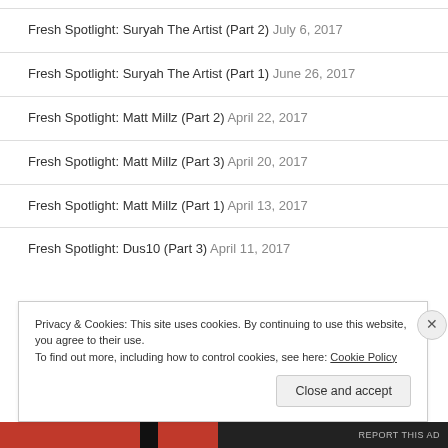Fresh Spotlight: Suryah The Artist (Part 2) July 6, 2017
Fresh Spotlight: Suryah The Artist (Part 1) June 26, 2017
Fresh Spotlight: Matt Millz (Part 2) April 22, 2017
Fresh Spotlight: Matt Millz (Part 3) April 20, 2017
Fresh Spotlight: Matt Millz (Part 1) April 13, 2017
Fresh Spotlight: Dus10 (Part 3) April 11, 2017
Privacy & Cookies: This site uses cookies. By continuing to use this website, you agree to their use. To find out more, including how to control cookies, see here: Cookie Policy
Close and accept